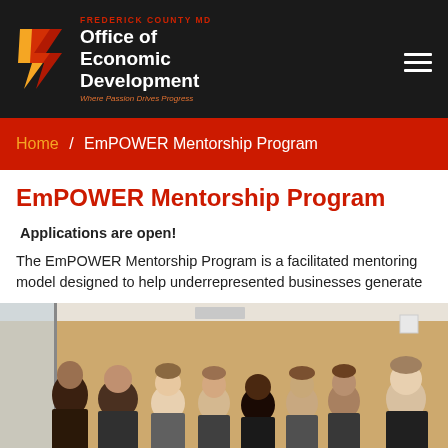[Figure (logo): Frederick County MD Office of Economic Development logo with stylized arrow/lightning bolt icon in red, gold, and white on black background. Tagline: Where Passion Drives Progress]
Home / EmPOWER Mentorship Program
EmPOWER Mentorship Program
Applications are open!
The EmPOWER Mentorship Program is a facilitated mentoring model designed to help underrepresented businesses generate
[Figure (photo): Group photo of approximately 8-9 people standing together in a room with tan/yellow walls and a window on the left side]